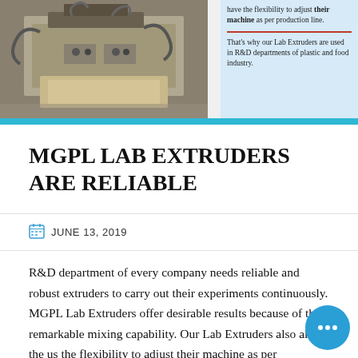[Figure (photo): Industrial lab extruder machine, metallic with hoses and components, beige/grey cabinet base]
have the flexibility to adjust their machine as per production line.

That's why our Lab Extruders are used in R&D departments of plastic and food industry.
MGPL LAB EXTRUDERS ARE RELIABLE
JUNE 13, 2019
R&D department of every company needs reliable and robust extruders to carry out their experiments continuously. MGPL Lab Extruders offer desirable results because of their remarkable mixing capability. Our Lab Extruders also allow the us the flexibility to adjust their machine as per production line. That's why our Lab Extruders are